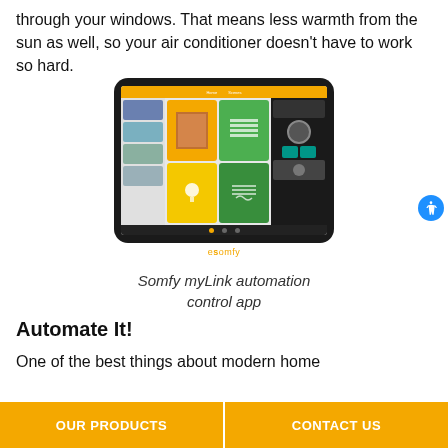through your windows. That means less warmth from the sun as well, so your air conditioner doesn't have to work so hard.
[Figure (screenshot): A tablet device showing the Somfy myLink automation control app interface with colorful icons for various smart home controls including blinds, lighting, and heating, with the eSomfy logo below.]
Somfy myLink automation control app
Automate It!
One of the best things about modern home
OUR PRODUCTS | CONTACT US